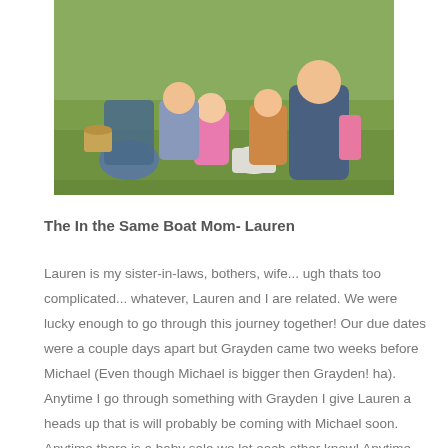[Figure (photo): Group of children and adults sitting on grass outdoors with baskets, viewed from above]
The In the Same Boat Mom- Lauren
Lauren is my sister-in-laws, bothers, wife... ugh thats too complicated... whatever, Lauren and I are related. We were lucky enough to go through this journey together! Our due dates were a couple days apart but Grayden came two weeks before Michael (Even though Michael is bigger then Grayden! ha). Anytime I go through something with Grayden I give Lauren a heads up that is will probably be coming with Michael soon. Anytime there is a baby sale we let each other know! Anytime we have two of the same